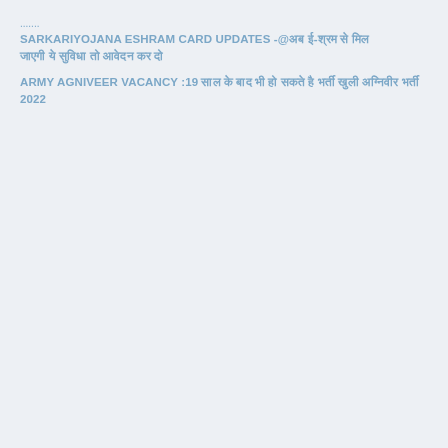SARKARIYOJANA ESHRAM CARD UPDATES -@अब ई-श्रम से मिल जाएगी ये सुविधा तो आवेदन कर दो
ARMY AGNIVEER VACANCY :19 साल के बाद भी हो सकते है भर्ती खुली अग्निवीर भर्ती 2022